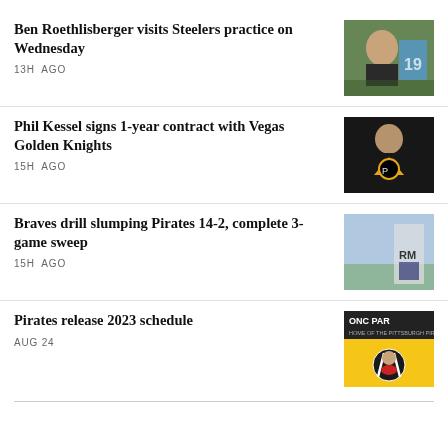Ben Roethlisberger visits Steelers practice on Wednesday
13H AGO
[Figure (photo): Photo of Ben Roethlisberger at Steelers practice, outdoors with trees in background]
Phil Kessel signs 1-year contract with Vegas Golden Knights
15H AGO
[Figure (photo): Photo of Phil Kessel in Pittsburgh Penguins jersey]
Braves drill slumping Pirates 14-2, complete 3-game sweep
15H AGO
[Figure (photo): Photo of a baseball pitcher on the mound at a stadium]
Pirates release 2023 schedule
AUG 24
[Figure (photo): Pittsburgh Pirates 2023 schedule promotional image with Pirates logo and PNC Park text]